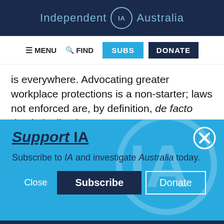Independent IA Australia
[Figure (screenshot): Navigation bar with MENU, FIND, SUBS (blue button), and DONATE (dark navy button)]
is everywhere. Advocating greater workplace protections is a non-starter; laws not enforced are, by definition, de facto decriminalised. The...
Support IA
Subscribe to IA and investigate Australia today.
Social icons: Twitter, Facebook, LinkedIn, Flipboard, Link, Plus